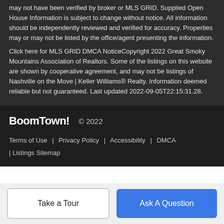may not have been verified by broker or MLS GRID. Supplied Open House Information is subject to change without notice. All information should be independently reviewed and verified for accuracy. Properties may or may not be listed by the office/agent presenting the information. Click here for MLS GRID DMCA NoticeCopyright 2022 Great Smoky Mountains Association of Realtors. Some of the listings on this website are shown by cooperative agreement, and may not be listings of Nashville on the Move | Keller Williams® Realty. Information deemed reliable but not guaranteed. Last updated 2022-09-05T22:15:31.28.
BoomTown! © 2022
Terms of Use | Privacy Policy | Accessibility | DMCA | Listings Sitemap
Take a Tour
Ask A Question